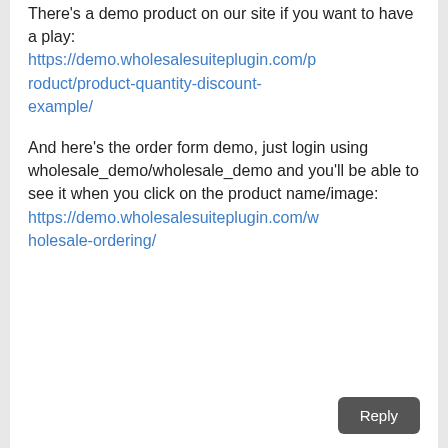There's a demo product on our site if you want to have a play: https://demo.wholesalesuiteplugin.com/product/product-quantity-discount-example/
And here's the order form demo, just login using wholesale_demo/wholesale_demo and you'll be able to see it when you click on the product name/image: https://demo.wholesalesuiteplugin.com/wholesale-ordering/